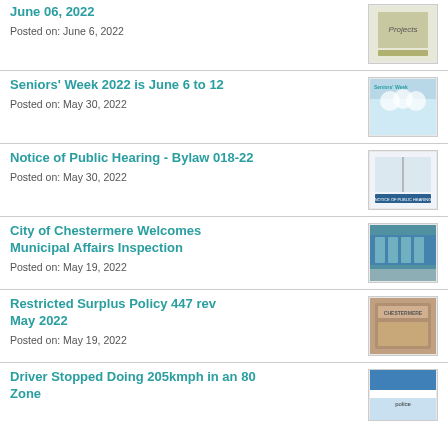June 06, 2022
Posted on: June 6, 2022
[Figure (photo): Thumbnail image related to June 06 2022 news item]
Seniors' Week 2022 is June 6 to 12
Posted on: May 30, 2022
[Figure (photo): Thumbnail image for Seniors Week 2022 showing group of people]
Notice of Public Hearing - Bylaw 018-22
Posted on: May 30, 2022
[Figure (photo): Thumbnail image for Notice of Public Hearing Bylaw 018-22]
City of Chestermere Welcomes Municipal Affairs Inspection
Posted on: May 19, 2022
[Figure (photo): Thumbnail image for Municipal Affairs Inspection]
Restricted Surplus Policy 447 rev May 2022
Posted on: May 19, 2022
[Figure (photo): Thumbnail image showing Chestermere building sign]
Driver Stopped Doing 205kmph in an 80 Zone
[Figure (photo): Thumbnail image related to driver stopped story]